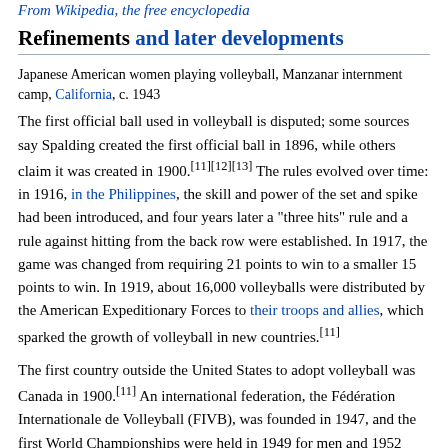From Wikipedia, the free encyclopedia
Refinements and later developments
Japanese American women playing volleyball, Manzanar internment camp, California, c. 1943
The first official ball used in volleyball is disputed; some sources say Spalding created the first official ball in 1896, while others claim it was created in 1900.[11][12][13] The rules evolved over time: in 1916, in the Philippines, the skill and power of the set and spike had been introduced, and four years later a "three hits" rule and a rule against hitting from the back row were established. In 1917, the game was changed from requiring 21 points to win to a smaller 15 points to win. In 1919, about 16,000 volleyballs were distributed by the American Expeditionary Forces to their troops and allies, which sparked the growth of volleyball in new countries.[11]
The first country outside the United States to adopt volleyball was Canada in 1900.[11] An international federation, the Fédération Internationale de Volleyball (FIVB), was founded in 1947, and the first World Championships were held in 1949 for men and 1952